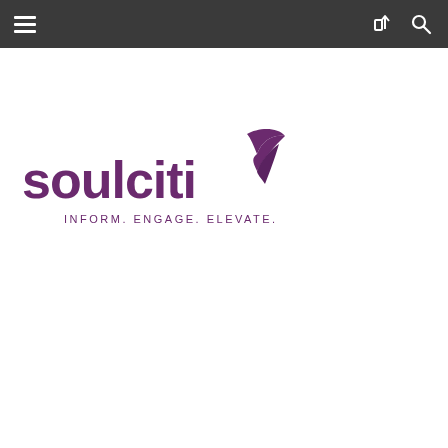Navigation bar with hamburger menu, share icon, and search icon
[Figure (logo): Soulciti logo: purple text 'soulciti' with a purple dove/bird icon to the right, and tagline 'INFORM. ENGAGE. ELEVATE.' below in small caps]